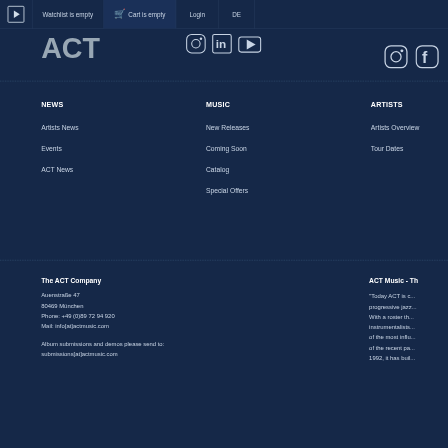Watchlist is empty  Cart is empty  Login  DE
[Figure (logo): ACT Music logo in white/grey on dark navy background]
[Figure (illustration): Social media icons: Instagram, LinkedIn/Spotify, YouTube in top area, and Instagram, Facebook on right side]
NEWS
Artists News
Events
ACT News
MUSIC
New Releases
Coming Soon
Catalog
Special Offers
ARTISTS
Artists Overview
Tour Dates
The ACT Company
Auenstraße 47
80469 München
Phone: +49 (0)89 72 94 920
Mail: info[at]actmusic.com

Album submissions and demos please send to:
submissions[at]actmusic.com
ACT Music - Th...
"Today ACT is c... progressive jazz... With a roster th... instrumentalists... of the most influ... of the recent pa... 1992, it has buil...